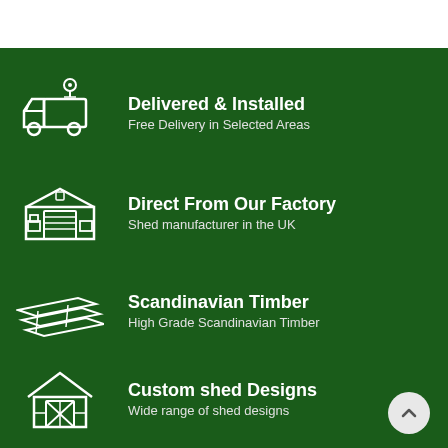Delivered & Installed
Free Delivery in Selected Areas
Direct From Our Factory
Shed manufacturer in the UK
Scandinavian Timber
High Grade Scandinavian Timber
Custom shed Designs
Wide range of shed designs